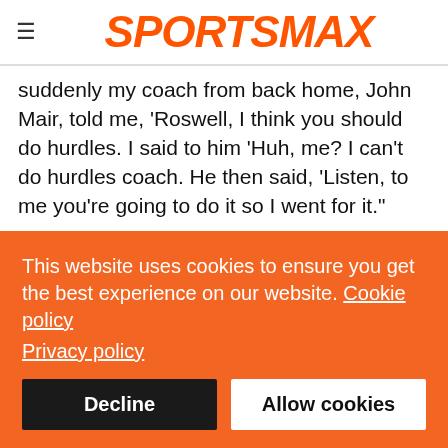SPORTSMAX
suddenly my coach from back home, John Mair, told me, 'Roswell, I think you should do hurdles. I said to him 'Huh, me? I can't do hurdles coach. He then said, 'Listen, to me you're going to do it so I went for it."
She said when she moved to the United States to attend New Mexico Junior College, her coaches Keith Blackwill and Tabarie Henry helped her improve her technique even though it still wasn't perfect. Still, it was good enough to win her the NJCAA Indoor 60mh title and 100mh Outdoor title in 2019 and the
This website uses cookies to ensure you get the best experience on our website. Cookie policy
Privacy policy
Decline
Allow cookies